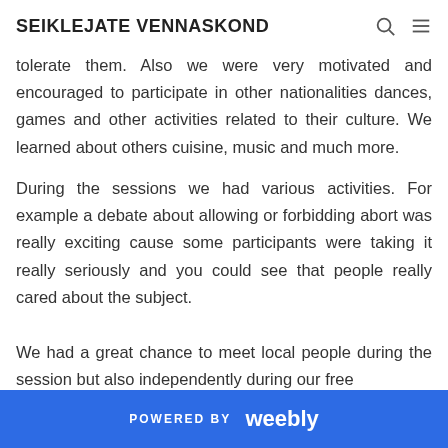SEIKLEJATE VENNASKOND
tolerate them. Also we were very motivated and encouraged to participate in other nationalities dances, games and other activities related to their culture. We learned about others cuisine, music and much more.
During the sessions we had various activities. For example a debate about allowing or forbidding abort was really exciting cause some participants were taking it really seriously and you could see that people really cared about the subject.
We had a great chance to meet local people during the session but also independently during our free
POWERED BY weebly